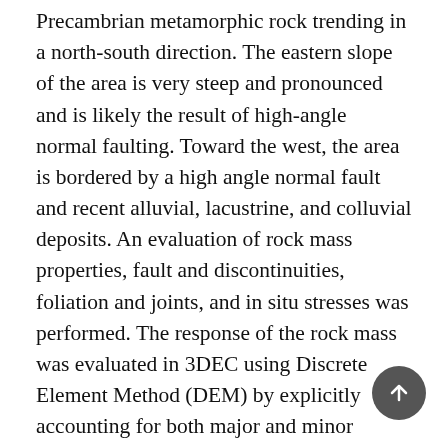Precambrian metamorphic rock trending in a north-south direction. The eastern slope of the area is very steep and pronounced and is likely the result of high-angle normal faulting. Toward the west, the area is bordered by a high angle normal fault and recent alluvial, lacustrine, and colluvial deposits. An evaluation of rock mass properties, fault and discontinuities, foliation and joints, and in situ stresses was performed. The response of the rock mass was evaluated in 3DEC using Discrete Element Method (DEM) by explicitly accounting for both major and minor discontinuities within the rock mass (i.e. joints, shear zones, faults). Moreover, the stability of the entire subsurface structure including the forebay, access and riser shafts, future forebay, well shafts, and connecting tunnels and their interactions with each other were evaluated using a 3D coupled